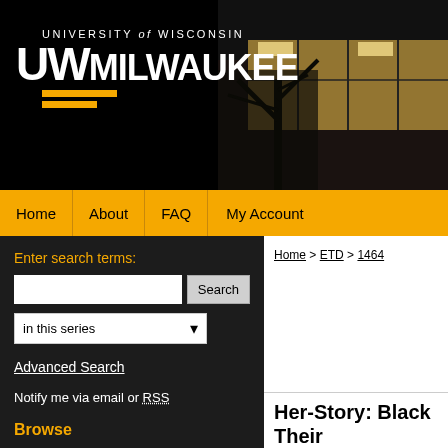[Figure (photo): UWM header banner with university building photo on the right and black background on the left with UW-Milwaukee logo]
UNIVERSITY of WISCONSIN UW MILWAUKEE
Home | About | FAQ | My Account
Enter search terms:
in this series
Advanced Search
Notify me via email or RSS
Browse
Home > ETD > 1464
Her-Story: Black Their Intersection